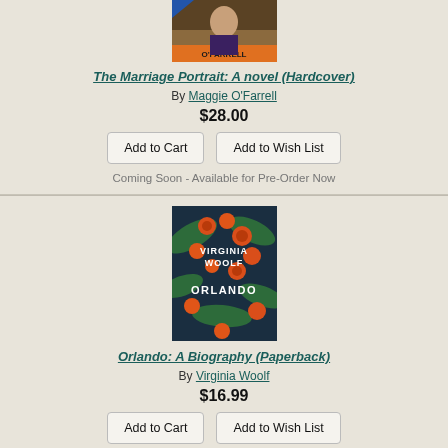[Figure (illustration): Book cover of The Marriage Portrait by Maggie O'Farrell - partial view at top]
The Marriage Portrait: A novel (Hardcover)
By Maggie O'Farrell
$28.00
Add to Cart
Add to Wish List
Coming Soon - Available for Pre-Order Now
[Figure (illustration): Book cover of Orlando: A Biography by Virginia Woolf - dark blue background with orange/red tropical flowers, white text reading VIRGINIA WOOLF ORLANDO]
Orlando: A Biography (Paperback)
By Virginia Woolf
$16.99
Add to Cart
Add to Wish List
On Our Shelves Now